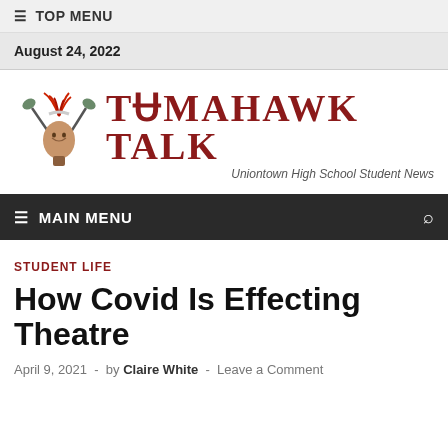≡  TOP MENU
August 24, 2022
[Figure (logo): Tomahawk Talk logo with Native American chief with tomahawks illustration and text 'TOMAHAWK TALK — Uniontown High School Student News']
≡  MAIN MENU
STUDENT LIFE
How Covid Is Effecting Theatre
April 9, 2021  -  by Claire White  -  Leave a Comment